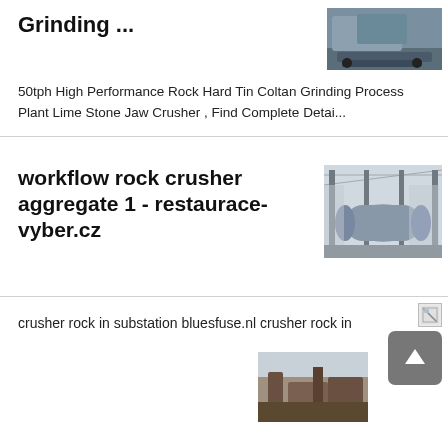Grinding ...
[Figure (photo): Outdoor mining/grinding machine, tracked, processing rocks]
50tph High Performance Rock Hard Tin Coltan Grinding Process Plant Lime Stone Jaw Crusher , Find Complete Detai...
workflow rock crusher aggregate 1 - restaurace-vyber.cz
[Figure (photo): Large industrial mill/rotary drum equipment inside a factory building]
[Figure (photo): Broken/missing image icon]
crusher rock in substation bluesfuse.nl crusher rock in
[Figure (photo): Outdoor rock crusher machinery, partially visible]